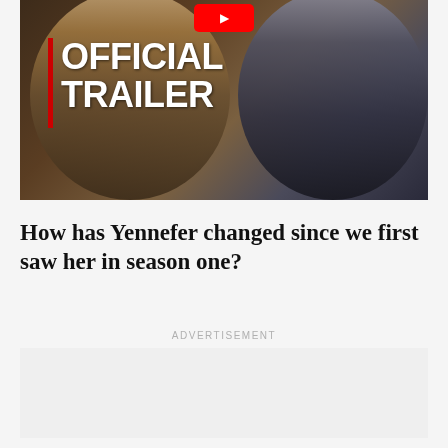[Figure (screenshot): Video thumbnail showing two characters in fantasy/medieval armor with text 'OFFICIAL TRAILER' overlaid on a dark background, with a red YouTube play button at top.]
How has Yennefer changed since we first saw her in season one?
ADVERTISEMENT